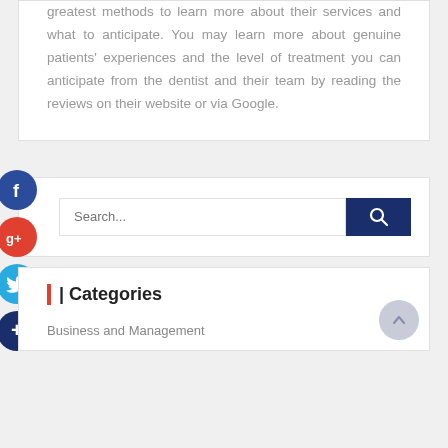greatest methods to learn more about their services and what to anticipate. You may learn more about genuine patients' experiences and the level of treatment you can anticipate from the dentist and their team by reading the reviews on their website or via Google.
[Figure (other): Search bar with social media icons (Facebook, Google+, Twitter, Plus) on the left side and a dark blue search button with magnifying glass icon on the right]
| Categories
Business and Management